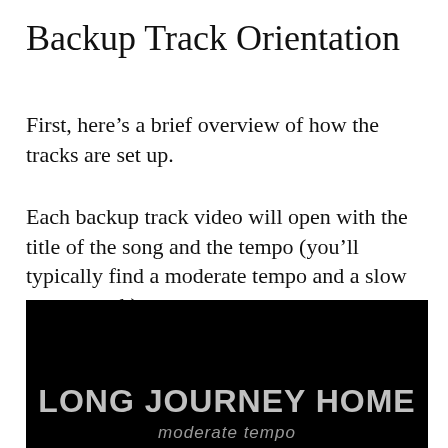Backup Track Orientation
First, here’s a brief overview of how the tracks are set up.
Each backup track video will open with the title of the song and the tempo (you’ll typically find a moderate tempo and a slow tempo track).
[Figure (screenshot): Black video screen showing 'LONG JOURNEY HOME' in bold gray text and 'moderate tempo' subtitle below it.]